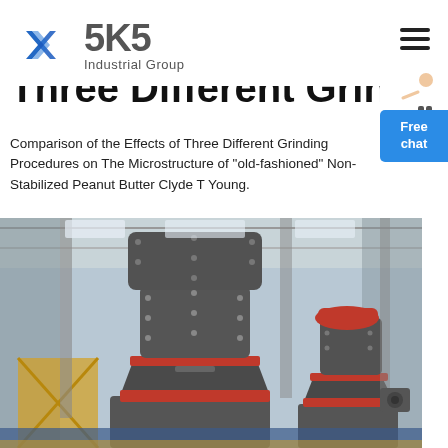[Figure (logo): SKS Industrial Group logo with angular blue S-shaped icon and bold grey SKS text with 'Industrial Group' subtitle]
Three Different Grinding
Comparison of the Effects of Three Different Grinding Procedures on The Microstructure of "old-fashioned" Non-Stabilized Peanut Butter Clyde T Young.
[Figure (photo): Industrial grinding/cone crusher machines in a factory hall, two large grey cone crushers with red accent rings, yellow and blue platform structures visible in background]